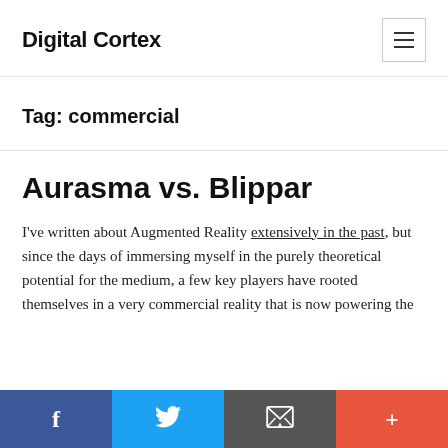Digital Cortex
Tag: commercial
Aurasma vs. Blippar
I've written about Augmented Reality extensively in the past, but since the days of immersing myself in the purely theoretical potential for the medium, a few key players have rooted themselves in a very commercial reality that is now powering the